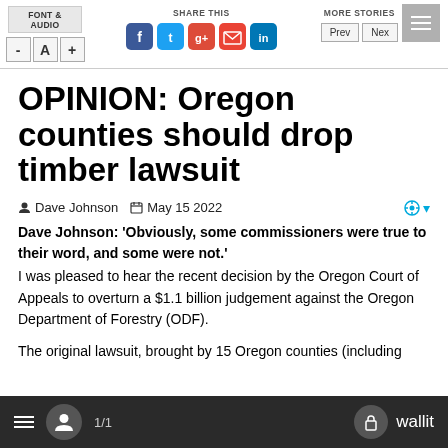FONT & AUDIO | SHARE THIS | MORE STORIES | Prev | Next
OPINION: Oregon counties should drop timber lawsuit
Dave Johnson   May 15 2022
Dave Johnson: 'Obviously, some commissioners were true to their word, and some were not.' I was pleased to hear the recent decision by the Oregon Court of Appeals to overturn a $1.1 billion judgement against the Oregon Department of Forestry (ODF).
The original lawsuit, brought by 15 Oregon counties (including
1/1   wallit